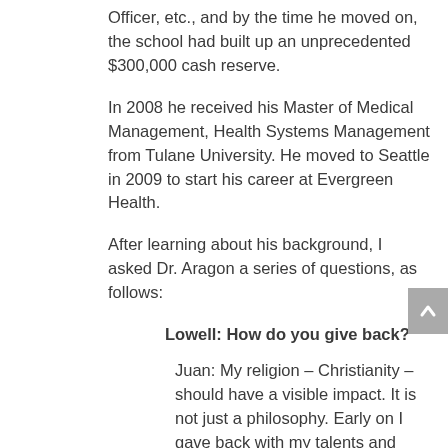Officer, etc., and by the time he moved on, the school had built up an unprecedented $300,000 cash reserve.
In 2008 he received his Master of Medical Management, Health Systems Management from Tulane University. He moved to Seattle in 2009 to start his career at Evergreen Health.
After learning about his background, I asked Dr. Aragon a series of questions, as follows:
Lowell: How do you give back?
Juan: My religion – Christianity – should have a visible impact. It is not just a philosophy. Early on I gave back with my talents and skills via board participation. I focused on organizations that had youth programs, like the YMCA, with the goal of helping kids navigate the messy teen years. I have